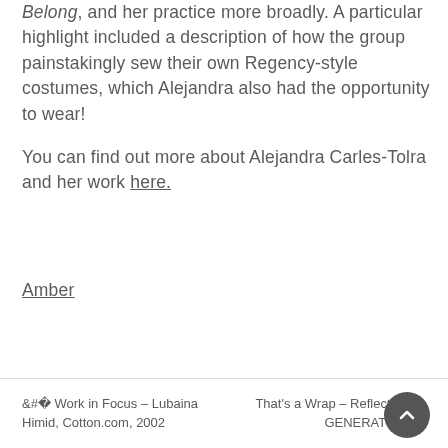Belong, and her practice more broadly. A particular highlight included a description of how the group painstakingly sew their own Regency-style costumes, which Alejandra also had the opportunity to wear!
You can find out more about Alejandra Carles-Tolra and her work here.
Amber
< Work in Focus – Lubaina Himid, Cotton.com, 2002 | That's a Wrap – Reflecting on GENERATIONS >